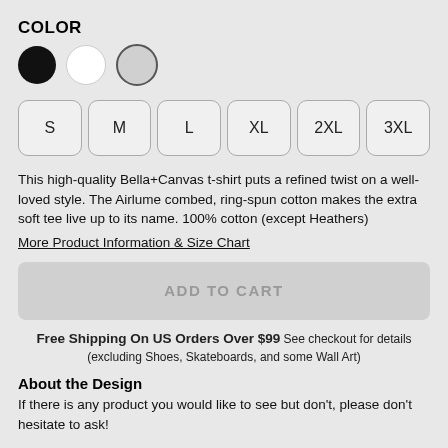COLOR
[Figure (illustration): Three color swatches: black filled circle, white filled circle, light gray filled circle with dark border]
[Figure (illustration): Six size selector buttons in a row: S, M, L, XL, 2XL, 3XL — rounded rectangle outlines]
This high-quality Bella+Canvas t-shirt puts a refined twist on a well-loved style. The Airlume combed, ring-spun cotton makes the extra soft tee live up to its name. 100% cotton (except Heathers)
More Product Information & Size Chart
ADD TO CART
Free Shipping On US Orders Over $99 See checkout for details (excluding Shoes, Skateboards, and some Wall Art)
About the Design
If there is any product you would like to see but don't, please don't hesitate to ask!